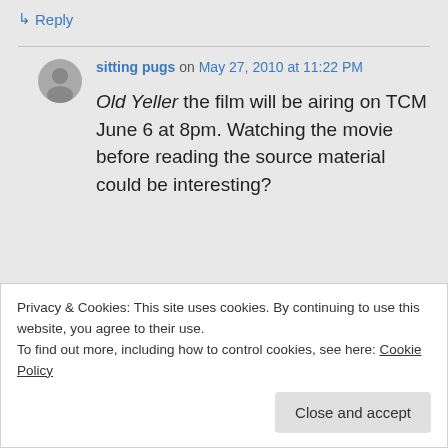↳ Reply
sitting pugs on May 27, 2010 at 11:22 PM
Old Yeller the film will be airing on TCM June 6 at 8pm. Watching the movie before reading the source material could be interesting?
Privacy & Cookies: This site uses cookies. By continuing to use this website, you agree to their use. To find out more, including how to control cookies, see here: Cookie Policy
Close and accept